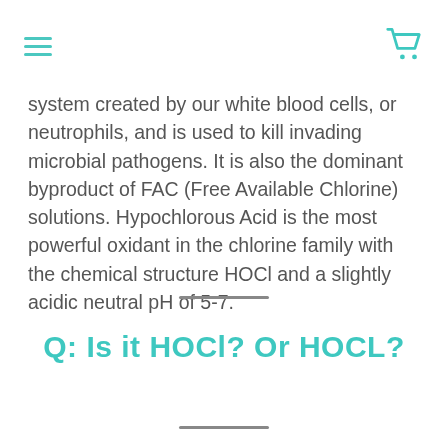[hamburger menu icon] [cart icon]
system created by our white blood cells, or neutrophils, and is used to kill invading microbial pathogens. It is also the dominant byproduct of FAC (Free Available Chlorine) solutions. Hypochlorous Acid is the most powerful oxidant in the chlorine family with the chemical structure HOCl and a slightly acidic neutral pH of 5-7.
Q: Is it HOCl? Or HOCL?